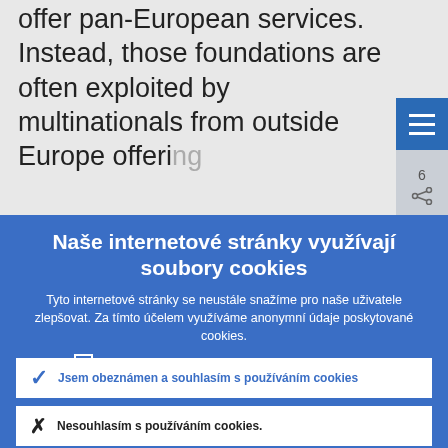offer pan-European services. Instead, those foundations are often exploited by multinationals from outside Europe offering
Naše internetové stránky využívají soubory cookies
Tyto internetové stránky se neustále snažíme pro naše uživatele zlepšovat. Za tímto účelem využíváme anonymní údaje poskytované cookies.
▶ Více informací o tom, jak využíváme cookies
✓ Jsem obeznámen a souhlasím s používáním cookies
✗ Nesouhlasím s používáním cookies.